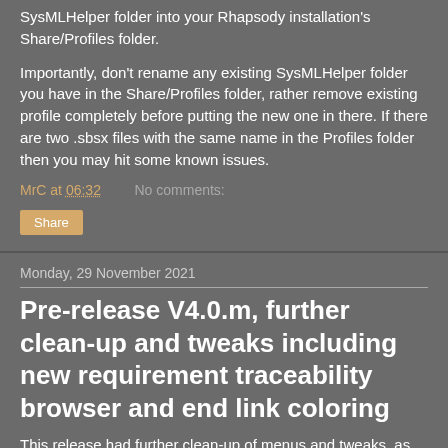SysMLHelper folder into your Rhapsody installation's Share/Profiles folder.
Importantly, don't rename any existing SysMLHelper folder you have in the Share/Profiles folder, rather remove existing profile completely before putting the new one in there. If there are two .sbsx files with the same name in the Profiles folder then you may hit some known issues.
MrC at 06:32   No comments:
Share
Monday, 29 November 2021
Pre-release V4.0.m, further clean-up and tweaks including new requirement traceability browser and end link coloring
This release had further clean-up of menus and tweaks, as